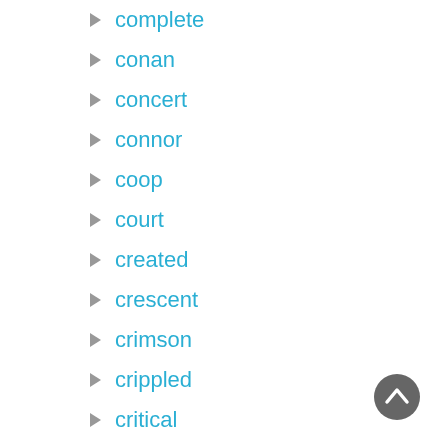complete
conan
concert
connor
coop
court
created
crescent
crimson
crippled
critical
crystal
cujo
[Figure (other): Back to top button — dark grey circle with white upward chevron arrow]